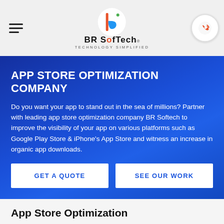BR Softech — Technology Simplified
APP STORE OPTIMIZATION COMPANY
Do you want your app to stand out in the sea of millions? Partner with leading app store optimization company BR Softech to improve the visibility of your app on various platforms such as Google Play Store & iPhone's App Store and witness an increase in organic app downloads.
GET A QUOTE
SEE OUR WORK
App Store Optimization
In today's date, there is a rise in the demand of marketing in various fields. BR Softech has also taken up the app marketing through ASO (App Store Optimization). ASO is the tool made for app SEO. Various kinds of apps are being launched with each